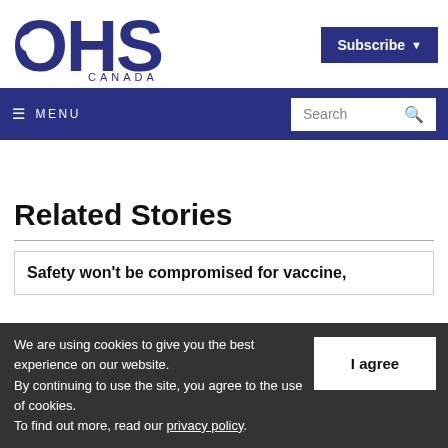[Figure (logo): OHS Canada logo in dark navy blue, large bold letters OHS with CANADA beneath]
Subscribe ▾
≡ MENU   Search 🔍
Related Stories
Safety won't be compromised for vaccine,
We are using cookies to give you the best experience on our website. By continuing to use the site, you agree to the use of cookies. To find out more, read our privacy policy.